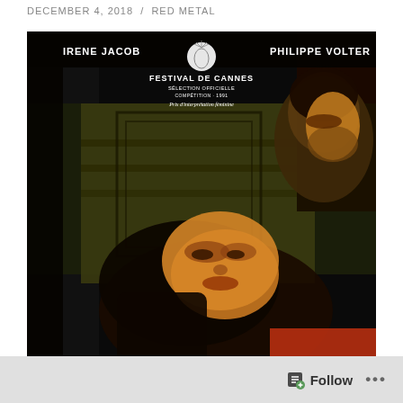DECEMBER 4, 2018 / RED METAL
[Figure (photo): Movie poster for a film featuring Irene Jacob and Philippe Volter, with Festival de Cannes selection badge. Dark atmospheric image showing two faces — a woman lying down in the foreground and a man above her in dim warm yellow-green lighting.]
Follow ...